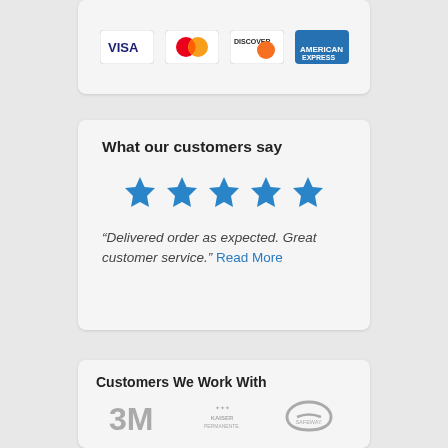[Figure (logo): Payment card logos: Visa, MasterCard, Discover, American Express]
What our customers say
[Figure (infographic): Five blue star rating icons]
“Delivered order as expected. Great customer service.” Read More
Customers We Work With
[Figure (logo): Customer logos: 3M, Kaiser Permanente, Safeway]